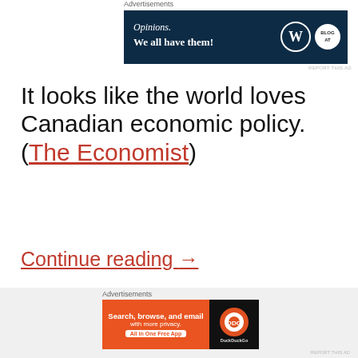[Figure (other): Advertisement banner: dark navy background with 'Opinions. We all have them!' text and WordPress/Blog logos]
It looks like the world loves Canadian economic policy. (The Economist)
Continue reading →
[Figure (other): Social share buttons: Twitter, Facebook, Tumblr, Reddit, Pinterest, and More button]
[Figure (other): Advertisement banner: DuckDuckGo 'Search, browse, and email with more privacy. All in One Free App']